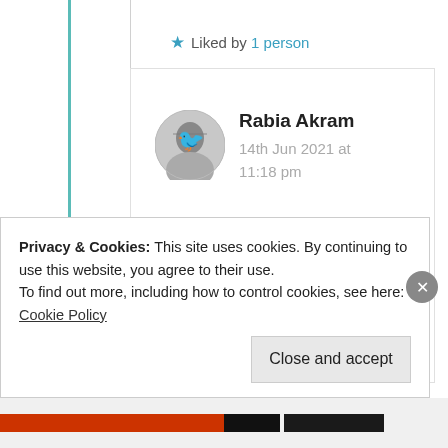★ Liked by 1 person
[Figure (photo): Circular avatar photo of Rabia Akram in black and white]
Rabia Akram
14th Jun 2021 at 11:18 pm
Haha 💔 sorry
★ Liked by 1 person
Privacy & Cookies: This site uses cookies. By continuing to use this website, you agree to their use.
To find out more, including how to control cookies, see here: Cookie Policy
Close and accept